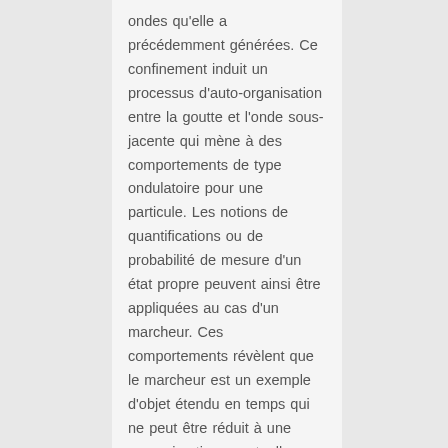ondes qu'elle a précédemment générées. Ce confinement induit un processus d'auto-organisation entre la goutte et l'onde sous-jacente qui mène à des comportements de type ondulatoire pour une particule. Les notions de quantifications ou de probabilité de mesure d'un état propre peuvent ainsi être appliquées au cas d'un marcheur. Ces comportements révèlent que le marcheur est un exemple d'objet étendu en temps qui ne peut être réduit à une approximation ponctuelle rappelant, dans un tout autre contexte, la théorie de l'onde pilote développée par de Broglie au début du XXème siècle